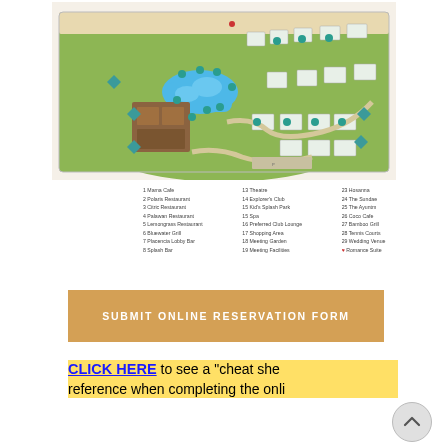[Figure (map): Resort property map showing building layout, pools, and numbered facilities on green grounds near beach]
1 Mama Cafe  |  13 Theatre  |  23 Hosanna
2 Polaris Restaurant  |  14 Explorer's Club  |  24 The Sundae
3 Citric Restaurant  |  15 Kid's Splash Park  |  25 The Ayuntm
4 Palawan Restaurant  |  15 Spa  |  26 Coco Cafe
5 Lemongrass Restaurant  |  16 Preferred Club Lounge  |  27 Bamboo Grill
6 Bluewater Grill  |  17 Shopping Area  |  28 Tennis Courts
7 Placencia Lobby Bar  |  18 Meeting Garden  |  29 Wedding Venue
8 Splash Bar  |  19 Meeting Facilities  |  ♥ Romance Suite
SUBMIT ONLINE RESERVATION FORM
CLICK HERE to see a "cheat sheet" reference when completing the online